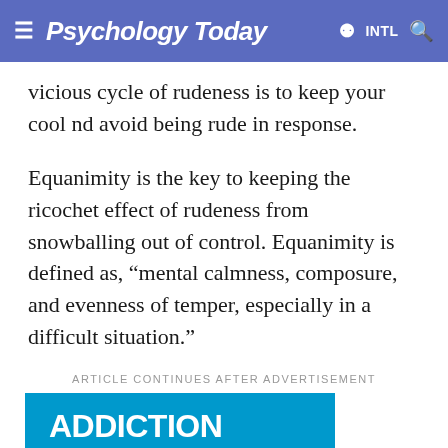Psychology Today  INTL
vicious cycle of rudeness is to keep your cool nd avoid being rude in response.
Equanimity is the key to keeping the ricochet effect of rudeness from snowballing out of control. Equanimity is defined as, “mental calmness, composure, and evenness of temper, especially in a difficult situation.”
ARTICLE CONTINUES AFTER ADVERTISEMENT
[Figure (infographic): Advertisement banner with blue background reading: ADDICTION RECOVERY IS POSSIBLE.]